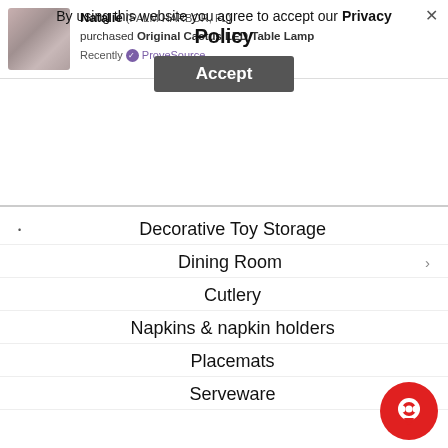[Figure (screenshot): Cookie/privacy consent banner overlay with a notification showing 'Natalie (PALM HARBOR, FL) purchased Original Cactus LED Table Lamp Recently via ProveSource', along with a privacy policy notice and Accept button]
Decorative Toy Storage
Dining Room
Cutlery
Napkins & napkin holders
Placemats
Serveware
Table linen
Fall Decor 2020
Gaming Chairs
Gold Chandeliers